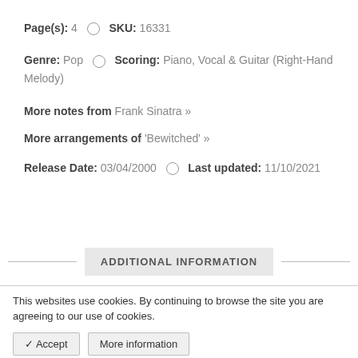Page(s): 4  ○  SKU: 16331
Genre: Pop  ○  Scoring: Piano, Vocal & Guitar (Right-Hand Melody)
More notes from Frank Sinatra »
More arrangements of 'Bewitched' »
Release Date: 03/04/2000  ○  Last updated: 11/10/2021
ADDITIONAL INFORMATION
This websites use cookies. By continuing to browse the site you are agreeing to our use of cookies.